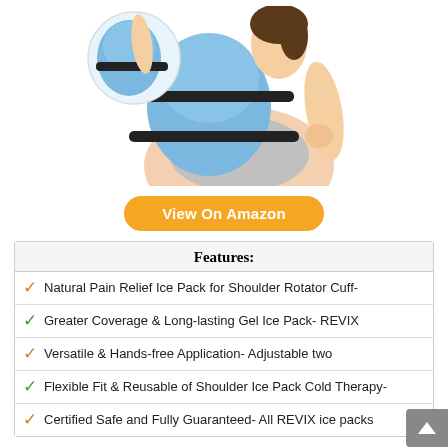[Figure (photo): Woman wearing a blue shoulder ice pack/cold therapy wrap with black straps, shown from the side. An inset circular image shows a close-up of the product being applied.]
View On Amazon
Features:
Natural Pain Relief Ice Pack for Shoulder Rotator Cuff-
Greater Coverage & Long-lasting Gel Ice Pack- REVIX
Versatile & Hands-free Application- Adjustable two
Flexible Fit & Reusable of Shoulder Ice Pack Cold Therapy-
Certified Safe and Fully Guaranteed- All REVIX ice packs
2. JUST MY SIZE WOMEN'S FULL FIGURE